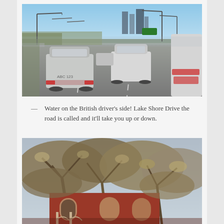[Figure (photo): Photo taken from inside a car looking forward on a multi-lane highway (Lake Shore Drive), with several white cars visible, street lights, bare trees, and city skyscrapers in the background under a blue sky.]
— Water on the British driver's side! Lake Shore Drive the road is called and it'll take you up or down.
[Figure (photo): Photo of a red brick Victorian-style house with arched windows and a porch, partially obscured by bare tree branches in the foreground, photographed from below looking up.]